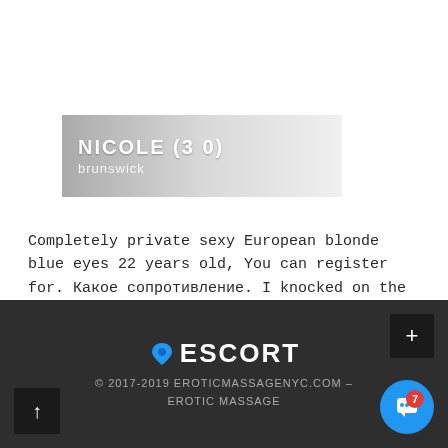NICOLE (30) brunswick
Completely private sexy European blonde blue eyes 22 years old, You can register for. Какое сопротивление. I knocked on the door and a women of about 35 answered it. Если честно, маму к Рику я часто ревновал.
♥ESCORT © 2017-2019 EROTICMASSAGENYC.COM – EROTIC MASSAGE